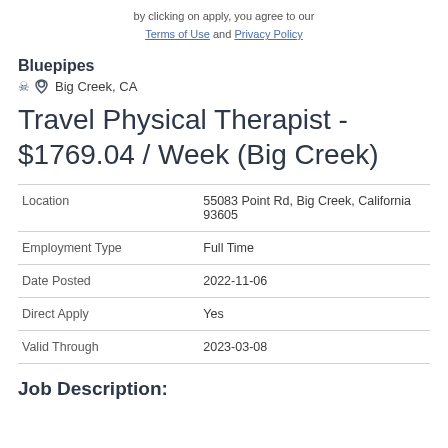by clicking on apply, you agree to our Terms of Use and Privacy Policy
Bluepipes
Big Creek, CA
Travel Physical Therapist - $1769.04 / Week (Big Creek)
| Field | Value |
| --- | --- |
| Location | 55083 Point Rd, Big Creek, California 93605 |
| Employment Type | Full Time |
| Date Posted | 2022-11-06 |
| Direct Apply | Yes |
| Valid Through | 2023-03-08 |
Job Description: